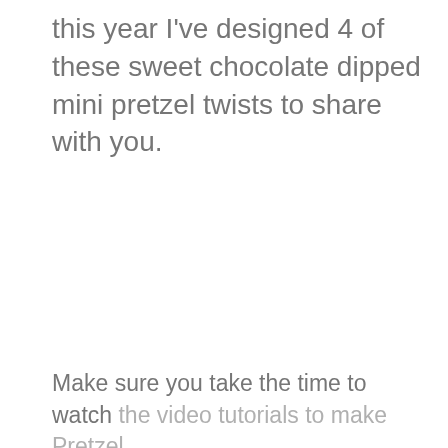this year I've designed 4 of these sweet chocolate dipped mini pretzel twists to share with you.
Make sure you take the time to watch the video tutorials to make Pretzel